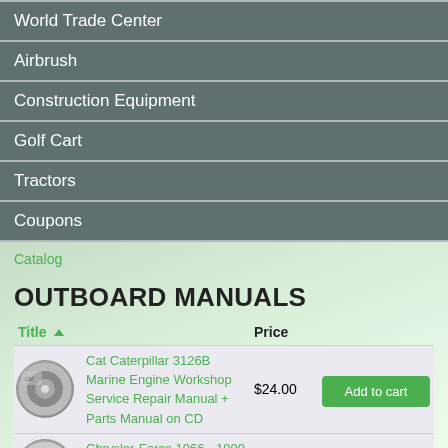World Trade Center
Airbrush
Construction Equipment
Golf Cart
Tractors
Coupons
Catalog
OUTBOARD MANUALS
| Title | Price |  |
| --- | --- | --- |
| Cat Caterpillar 3126B Marine Engine Workshop Service Repair Manual + Parts Manual on CD | $24.00 | Add to cart |
| Chrysler-Force 1966 - 1999 Outboard Service Repair Manuals CD | $14.00 | Add to cart |
| HONDA OUTBOARD ... | $14.00 | Add to cart |